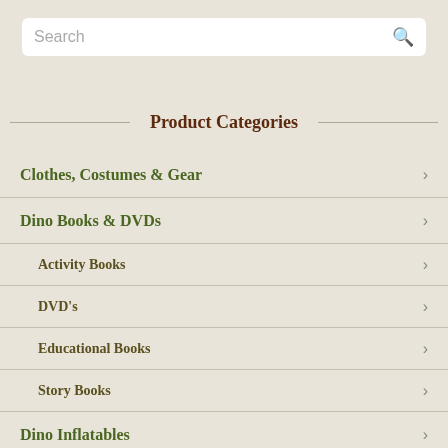[Figure (screenshot): Search bar with placeholder text 'Search' and a magnifying glass icon on the right]
Product Categories
Clothes, Costumes & Gear
Dino Books & DVDs
Activity Books
DVD's
Educational Books
Story Books
Dino Inflatables
Dino Room Decor
Dino Toys, Plush & Merch